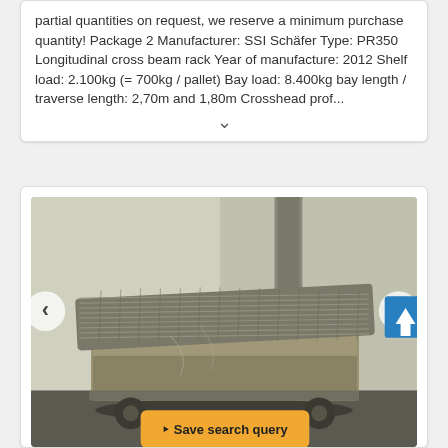partial quantities on request, we reserve a minimum purchase quantity! Package 2 Manufacturer: SSI Schäfer Type: PR350 Longitudinal cross beam rack Year of manufacture: 2012 Shelf load: 2.100kg (= 700kg / pallet) Bay load: 8.400kg bay length / traverse length: 2,70m and 1,80m Crosshead prof...
[Figure (photo): Photo of a used industrial warehouse trolley/cart with a metal grating top surface, worn yellow/grey paint, on wheels, photographed in a warehouse or industrial setting. Navigation arrows (< >) are visible on either side of the image. A blue scroll-to-top button appears at the right edge. A yellow 'Save search query' button overlays the lower center of the image.]